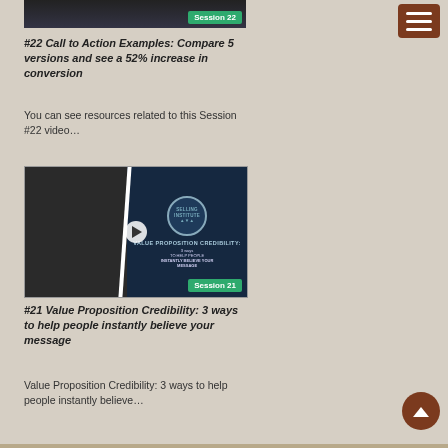[Figure (screenshot): Session 22 video thumbnail (partial, cropped at top) with green 'Session 22' badge]
#22 Call to Action Examples: Compare 5 versions and see a 52% increase in conversion
You can see resources related to this Session #22 video…
[Figure (screenshot): Session 21 video thumbnail showing a speaker on the left and navy slide text 'VALUE PROPOSITION CREDIBILITY: 3 ways TO HELP PEOPLE INSTANTLY BELIEVE YOUR MESSAGE' on the right, with play button and green 'Session 21' badge]
#21 Value Proposition Credibility: 3 ways to help people instantly believe your message
Value Proposition Credibility: 3 ways to help people instantly believe…